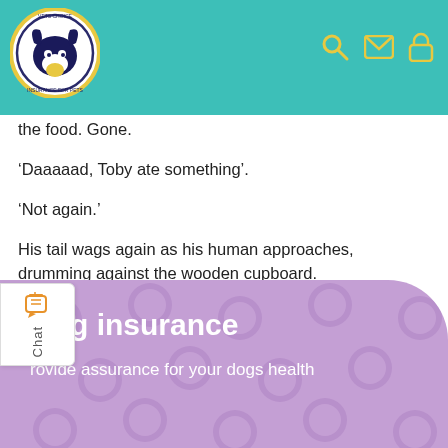Vets Choice Insurance For Pets
the food. Gone.
‘Daaaaad, Toby ate something’.
‘Not again.’
His tail wags again as his human approaches, drumming against the wooden cupboard.
At least this time it wasn’t a sock.
Dog insurance
rovide assurance for your dogs health